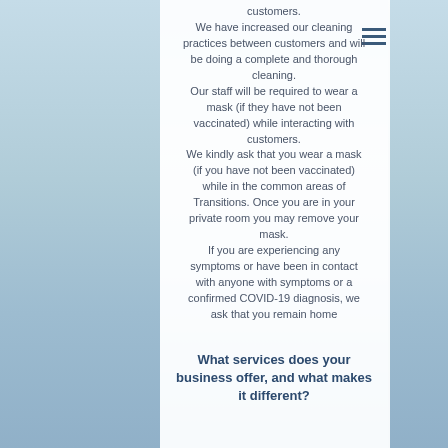customers. We have increased our cleaning practices between customers and will be doing a complete and thorough cleaning. Our staff will be required to wear a mask (if they have not been vaccinated) while interacting with customers. We kindly ask that you wear a mask (if you have not been vaccinated) while in the common areas of Transitions. Once you are in your private room you may remove your mask. If you are experiencing any symptoms or have been in contact with anyone with symptoms or a confirmed COVID-19 diagnosis, we ask that you remain home
What services does your business offer, and what makes it different?